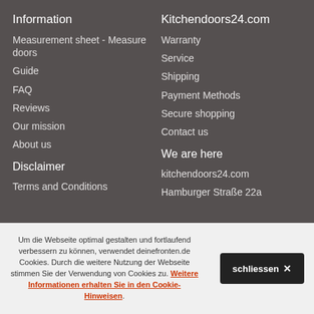Information
Measurement sheet - Measure doors
Guide
FAQ
Reviews
Our mission
About us
Disclaimer
Terms and Conditions
Kitchendoors24.com
Warranty
Service
Shipping
Payment Methods
Secure shopping
Contact us
We are here
kitchendoors24.com
Hamburger Straße 22a
Um die Webseite optimal gestalten und fortlaufend verbessern zu können, verwendet deinefronten.de Cookies. Durch die weitere Nutzung der Webseite stimmen Sie der Verwendung von Cookies zu. Weitere Informationen erhalten Sie in den Cookie-Hinweisen.
schliessen ✕